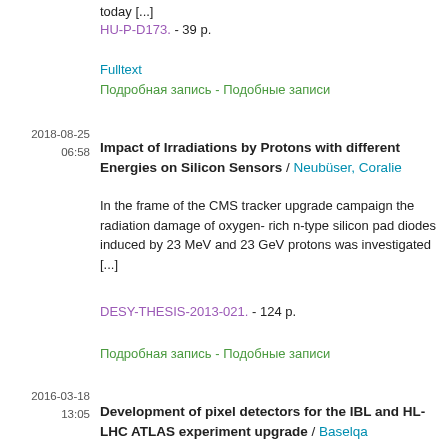today [...]
HU-P-D173. - 39 p.
Fulltext
Подробная запись - Подобные записи
2018-08-25
06:58
Impact of Irradiations by Protons with different Energies on Silicon Sensors / Neubüser, Coralie
In the frame of the CMS tracker upgrade campaign the radiation damage of oxygen- rich n-type silicon pad diodes induced by 23 MeV and 23 GeV protons was investigated [...]
DESY-THESIS-2013-021. - 124 p.
Подробная запись - Подобные записи
2016-03-18
13:05
Development of pixel detectors for the IBL and HL-LHC ATLAS experiment upgrade / Baselqa